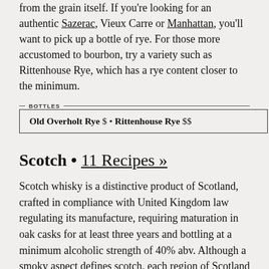from the grain itself. If you're looking for an authentic Sazerac, Vieux Carre or Manhattan, you'll want to pick up a bottle of rye. For those more accustomed to bourbon, try a variety such as Rittenhouse Rye, which has a rye content closer to the minimum.
BOTTLES — Old Overholt Rye $ • Rittenhouse Rye $$
Scotch • 11 Recipes »
Scotch whisky is a distinctive product of Scotland, crafted in compliance with United Kingdom law regulating its manufacture, requiring maturation in oak casks for at least three years and bottling at a minimum alcoholic strength of 40% abv. Although a smoky aspect defines scotch, each region of Scotland produces different and distinct flavor characteristics. This is particularly evident in single malts. When choosing a scotch you will find either "single malt" or